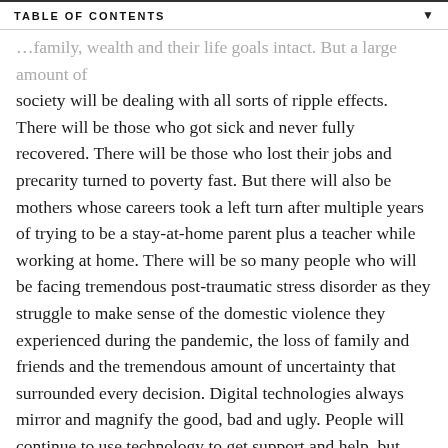TABLE OF CONTENTS
…family, wealth and their life goals intact. But a large amount of society will be dealing with all sorts of ripple effects. There will be those who got sick and never fully recovered. There will be those who lost their jobs and precarity turned to poverty fast. But there will also be mothers whose careers took a left turn after multiple years of trying to be a stay-at-home parent plus a teacher while working at home. There will be so many people who will be facing tremendous post-traumatic stress disorder as they struggle to make sense of the domestic violence they experienced during the pandemic, the loss of family and friends and the tremendous amount of uncertainty that surrounded every decision. Digital technologies always mirror and magnify the good, bad and ugly. People will continue to use technology to get support and help, but they will also struggle with how technology becomes a place of hostility and information confusion. A cohort of young people will be accustomed to